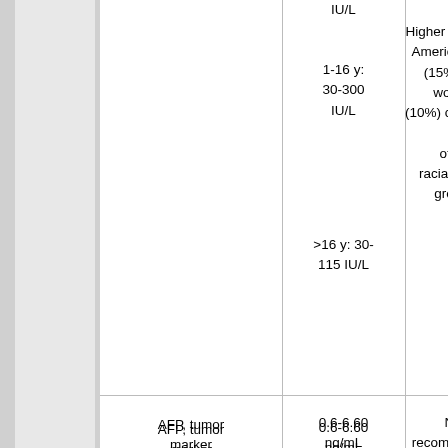| Test Name | Reference Range | Special Considerations | Increased By |
| --- | --- | --- | --- |
|  | IU/L
1-16 y: 30-300 IU/L
>16 y: 30-115 IU/L | Higher in African American men (15%) and women (10%) compared to other racial/ethnic groups | increas
drug
antiep
anti
cardiov |
| AFP, tumor marker | 0.6-6.60 ng/mL | Not recommended as a screening procedure to detect cancer in the general population | Tum
tract,
(e.g.
hepati
alcoho
p
Smo
Inflam
So |